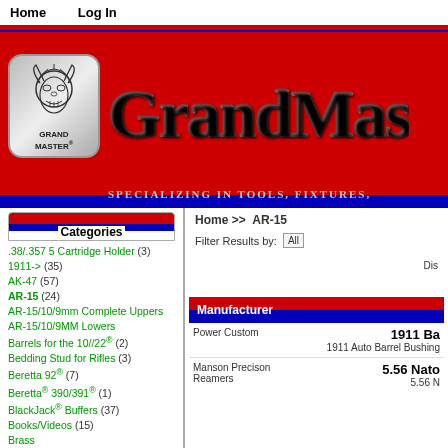Home   Log In
[Figure (logo): Grand Master logo with horned skull design and text GRAND MASTER]
GrandMas
Specializing in tools, fixtures,
Home >> AR-15
Categories
.38/.357 5 Cartridge Holder (3)
1911-> (35)
AK-47 (57)
AR-15 (24)
AR-15/10/9mm Complete Uppers
AR-15/10/9MM Lowers
Barrels for the 10//22® (2)
Bedding Stud for Rifles (3)
Beretta 92® (7)
Beretta® 390/391® (1)
BlackJack® Buffers (37)
Books/Videos (15)
Brass
Browing HP (37)
Buffer Tech (18)
Business Card Holder
Cleaning & Lubrication (3)
Filter Results by:
Manufacturer
| Manufacturer | Product |
| --- | --- |
| Power Custom | 1911 Ba
1911 Auto Barrel Bushing |
| Manson Precison Reamers | 5.56 Nato
5.56 N |